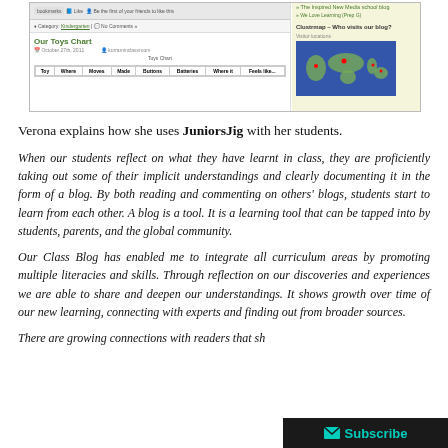[Figure (screenshot): Screenshot of a class blog page showing 'Our Toys Chart' post with a table of toys, and a sidebar showing 'Clustrmap - Who visits our blog?' with a world map showing visitor locations.]
Verona explains how she uses JuniorsJig with her students.
When our students reflect on what they have learnt in class, they are proficiently taking out some of their implicit understandings and clearly documenting it in the form of a blog. By both reading and commenting on others' blogs, students start to learn from each other. A blog is a tool. It is a learning tool that can be tapped into by students, parents, and the global community.
Our Class Blog has enabled me to integrate all curriculum areas by promoting multiple literacies and skills. Through reflection on our discoveries and experiences we are able to share and deepen our understandings. It shows growth over time of our new learning, connecting with experts and finding out from broader sources.
There are growing connections with readers that sh...